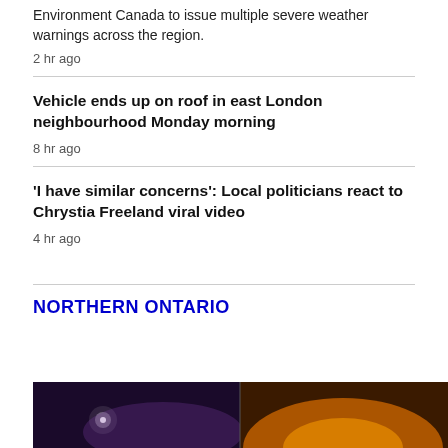Environment Canada to issue multiple severe weather warnings across the region.
2 hr ago
Vehicle ends up on roof in east London neighbourhood Monday morning
8 hr ago
'I have similar concerns': Local politicians react to Chrystia Freeland viral video
4 hr ago
NORTHERN ONTARIO
[Figure (photo): Dark night sky photo split into two sections: left shows a white light/star against dark purple sky, right shows orange/amber glow]